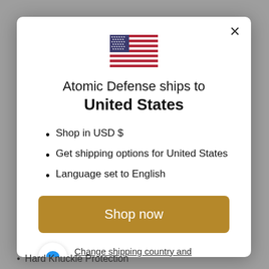[Figure (illustration): US flag SVG illustration centered at top of modal]
Atomic Defense ships to United States
Shop in USD $
Get shipping options for United States
Language set to English
Shop now
Change shipping country and language
Hard Knuckle Protection